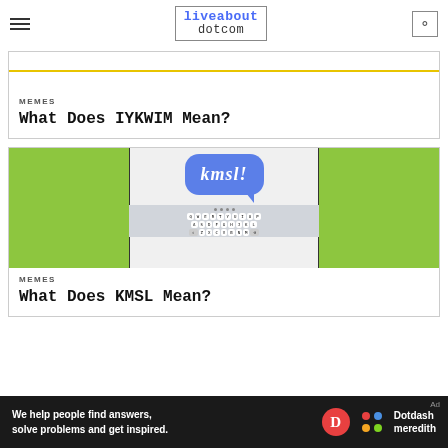liveabout dotcom
[Figure (screenshot): Partial view of a webpage with a yellow horizontal line separator]
MEMES
What Does IYKWIM Mean?
[Figure (photo): Screenshot of a phone with iMessage bubble showing 'kmsl!' in blue on a green background with keyboard visible]
MEMES
What Does KMSL Mean?
Ad  We help people find answers, solve problems and get inspired.  Dotdash meredith